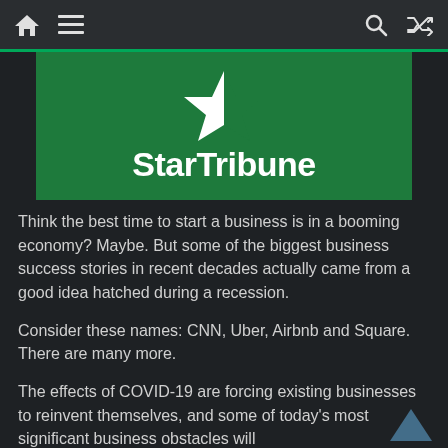Navigation bar with home, menu, search, and shuffle icons
[Figure (logo): StarTribune logo on green background with white star icon and bold white text 'StarTribune']
Think the best time to start a business is in a booming economy? Maybe. But some of the biggest business success stories in recent decades actually came from a good idea hatched during a recession.
Consider these names: CNN, Uber, Airbnb and Square. There are many more.
The effects of COVID-19 are forcing existing businesses to reinvent themselves, and some of today's most significant business obstacles will